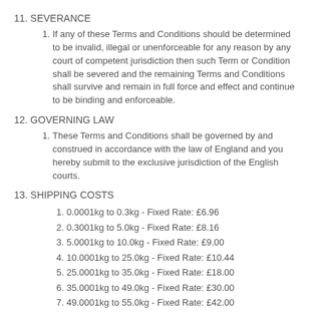11. SEVERANCE
If any of these Terms and Conditions should be determined to be invalid, illegal or unenforceable for any reason by any court of competent jurisdiction then such Term or Condition shall be severed and the remaining Terms and Conditions shall survive and remain in full force and effect and continue to be binding and enforceable.
12. GOVERNING LAW
These Terms and Conditions shall be governed by and construed in accordance with the law of England and you hereby submit to the exclusive jurisdiction of the English courts.
13. SHIPPING COSTS
0.0001kg to 0.3kg - Fixed Rate: £6.96
0.3001kg to 5.0kg - Fixed Rate: £8.16
5.0001kg to 10.0kg - Fixed Rate: £9.00
10.0001kg to 25.0kg - Fixed Rate: £10.44
25.0001kg to 35.0kg - Fixed Rate: £18.00
35.0001kg to 49.0kg - Fixed Rate: £30.00
49.0001kg to 55.0kg - Fixed Rate: £42.00
55.0001kg or heavier - Fixed Rate: £66.00